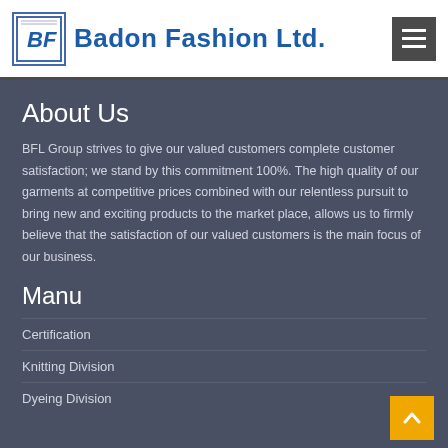Badon Fashion Ltd.
About Us
BFL Group strives to give our valued customers complete customer satisfaction; we stand by this commitment 100%. The high quality of our garments at competitive prices combined with our relentless pursuit to bring new and exciting products to the market place, allows us to firmly believe that the satisfaction of our valued customers is the main focus of our business.
Manu
Certification
Knitting Division
Dyeing Division